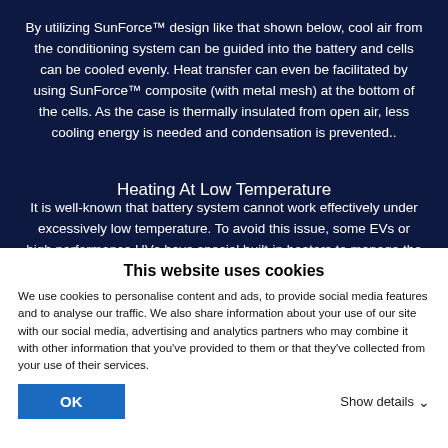By utilizing SunForce™ design like that shown below, cool air from the conditioning system can be guided into the battery and cells can be cooled evenly. Heat transfer can even be facilitated by using SunForce™ composite (with metal mesh) at the bottom of the cells. As the case is thermally insulated from open air, less cooling energy is needed and condensation is prevented..
Heating At Low Temperature
It is well-known that battery system cannot work effectively under excessively low temperature. To avoid this issue, some EVs or high performance HVs have special built-in heaters to manage the temperatures of
This website uses cookies
We use cookies to personalise content and ads, to provide social media features and to analyse our traffic. We also share information about your use of our site with our social media, advertising and analytics partners who may combine it with other information that you've provided to them or that they've collected from your use of their services.
OK
Show details